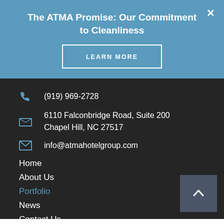The ATMA Promise: Our Commitment to Cleanliness
LEARN MORE
(919) 969-2728
6110 Falconbridge Road, Suite 200
Chapel Hill, NC 27517
info@atmahotelgroup.com
Home
About Us
Portfolio
News
Contact Us